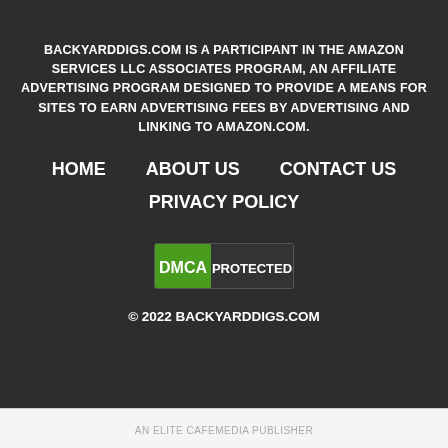BACKYARDDIGS.COM IS A PARTICIPANT IN THE AMAZON SERVICES LLC ASSOCIATES PROGRAM, AN AFFILIATE ADVERTISING PROGRAM DESIGNED TO PROVIDE A MEANS FOR SITES TO EARN ADVERTISING FEES BY ADVERTISING AND LINKING TO AMAZON.COM.
HOME
ABOUT US
CONTACT US
PRIVACY POLICY
[Figure (logo): DMCA PROTECTED badge with green and dark sections]
© 2022 BACKYARDDIGS.COM
AN ELITE CAFEMEDIA PUBLISHER